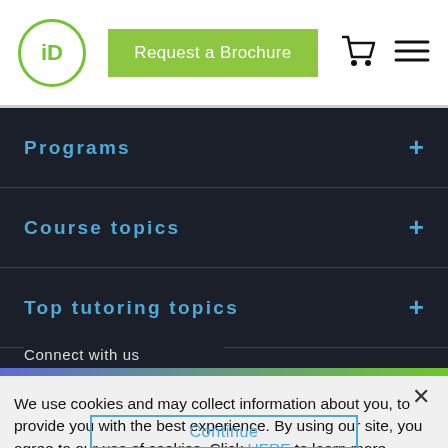[Figure (logo): iD logo — green circle with 'iD' text inside]
Request a Brochure
[Figure (other): Shopping cart icon]
[Figure (other): Hamburger menu icon]
Programs
Course topics
Top tutoring topics
Connect with us
We use cookies and may collect information about you, to provide you with the best experience. By using our site, you agree to our use of cookies. Click HERE to learn more.
Continue